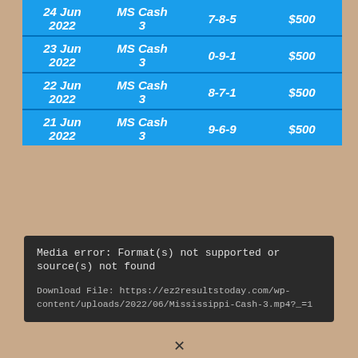| Date | Game | Numbers | Prize |
| --- | --- | --- | --- |
| 24 Jun 2022 | MS Cash 3 | 7-8-5 | $500 |
| 23 Jun 2022 | MS Cash 3 | 0-9-1 | $500 |
| 22 Jun 2022 | MS Cash 3 | 8-7-1 | $500 |
| 21 Jun 2022 | MS Cash 3 | 9-6-9 | $500 |
Media error: Format(s) not supported or source(s) not found

Download File: https://ez2resultstoday.com/wp-content/uploads/2022/06/Mississippi-Cash-3.mp4?_=1